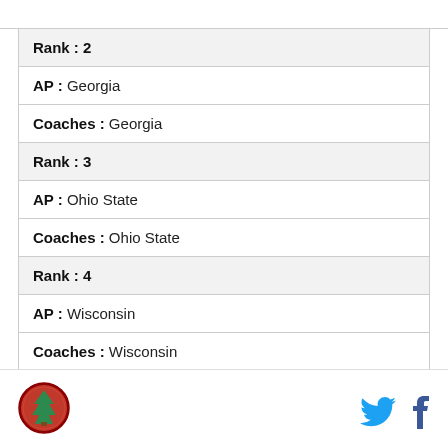| Rank : 2 |
| AP : Georgia |
| Coaches : Georgia |
| Rank : 3 |
| AP : Ohio State |
| Coaches : Ohio State |
| Rank : 4 |
| AP : Wisconsin |
| Coaches : Wisconsin |
| Rank : 5 |
| AP : Notre Dame |
[Figure (logo): Site logo - circular badge with tree, red and green colors]
[Figure (other): Twitter and Facebook social media icons in footer]